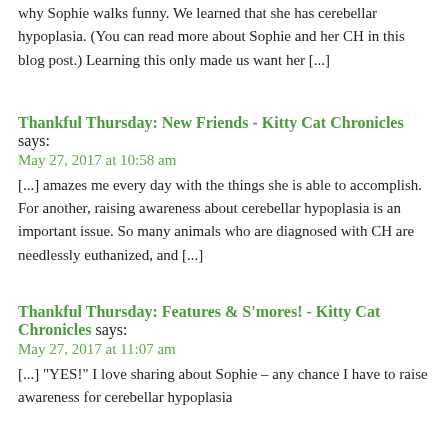why Sophie walks funny. We learned that she has cerebellar hypoplasia. (You can read more about Sophie and her CH in this blog post.) Learning this only made us want her [...]
Thankful Thursday: New Friends - Kitty Cat Chronicles says:
May 27, 2017 at 10:58 am
[...] amazes me every day with the things she is able to accomplish. For another, raising awareness about cerebellar hypoplasia is an important issue. So many animals who are diagnosed with CH are needlessly euthanized, and [...]
Thankful Thursday: Features & S'mores! - Kitty Cat Chronicles says:
May 27, 2017 at 11:07 am
[...] "YES!" I love sharing about Sophie – any chance I have to raise awareness for cerebellar hypoplasia